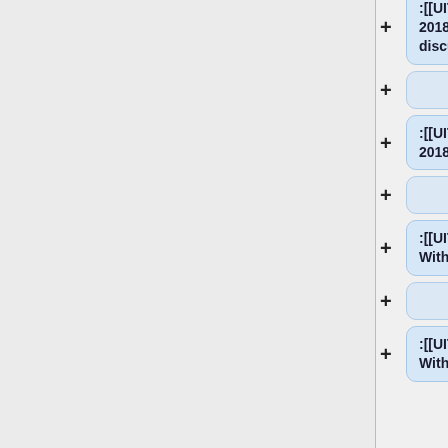:[[UITF Meeting - October 31, 2018]] (HDice) Double Dump discussion
:[[UITF Meeting - October 15, 2018]] P&C meeting slides
:[[UITF Meeting - August 29, 2018]] With HDIce Group
:[[UITF Meeting - August 15, 2018]] With